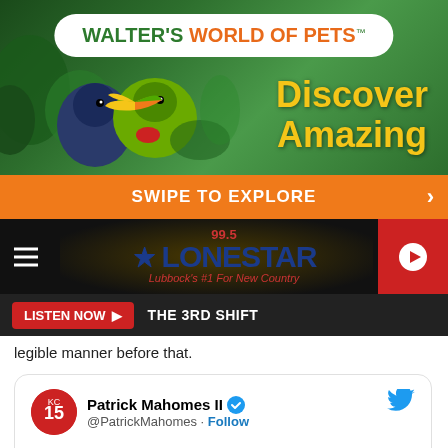[Figure (illustration): Walter's World of Pets advertisement banner with toucan bird on green jungle background, white pill logo, orange 'Discover Amazing' text, and orange 'SWIPE TO EXPLORE' bar]
[Figure (screenshot): 99.5 Lonestar radio station header with hamburger menu, logo centered, and red play button on right]
LISTEN NOW ▶  THE 3RD SHIFT
legible manner before that.
Patrick Mahomes II @PatrickMahomes · Follow

Haha! Remember signing stuff as a kid with my pops but started before the rangers! 😂😂